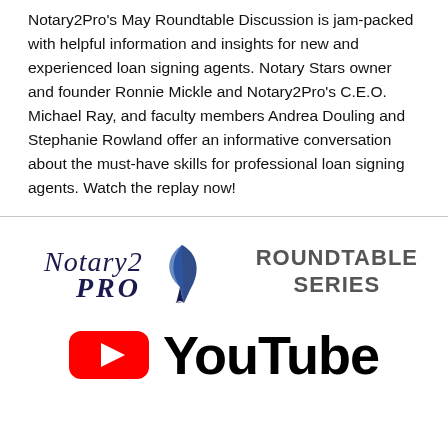Notary2Pro's May Roundtable Discussion is jam-packed with helpful information and insights for new and experienced loan signing agents. Notary Stars owner and founder Ronnie Mickle and Notary2Pro's C.E.O. Michael Ray, and faculty members Andrea Douling and Stephanie Rowland offer an informative conversation about the must-have skills for professional loan signing agents. Watch the replay now!
[Figure (logo): Notary2Pro logo with script text 'Notary2Pro' above 'PRO' with a feather quill pen graphic, next to bold gray text 'ROUNDTABLE SERIES']
[Figure (logo): YouTube logo: red rounded rectangle with white play triangle, followed by bold black 'YouTube' wordmark]